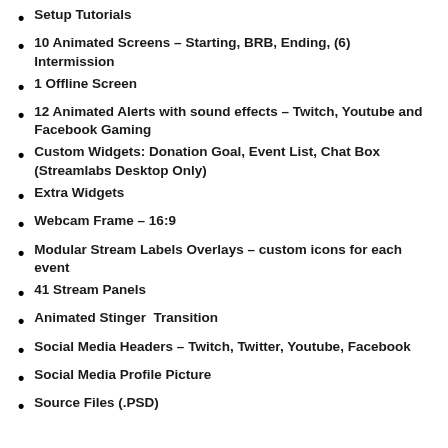Setup Tutorials
10 Animated Screens – Starting, BRB, Ending, (6) Intermission
1 Offline Screen
12 Animated Alerts with sound effects – Twitch, Youtube and Facebook Gaming
Custom Widgets: Donation Goal, Event List, Chat Box (Streamlabs Desktop Only)
Extra Widgets
Webcam Frame – 16:9
Modular Stream Labels Overlays – custom icons for each event
41 Stream Panels
Animated Stinger  Transition
Social Media Headers – Twitch, Twitter, Youtube, Facebook
Social Media Profile Picture
Source Files (.PSD)